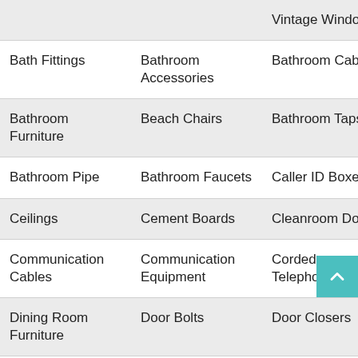|  |  | Vintage Windows | Chairs |
| Bath Fittings | Bathroom Accessories | Bathroom Cabinet | Burner |
| Bathroom Furniture | Beach Chairs | Bathroom Taps | Bathroom Vanities |
| Bathroom Pipe | Bathroom Faucets | Caller ID Boxes | Ceiling Compo |
| Ceilings | Cement Boards | Cleanroom Doors | Cobble |
| Communication Cables | Communication Equipment | Corded Telephones | Cordless Teleph |
| Dining Room Furniture | Door Bolts | Door Closers | Ear Protec |
| Door Rollers | Drawer Slide | Door Viewers | Doorbe |
| Door Grates | Door Stops | Engineered | Extrud |